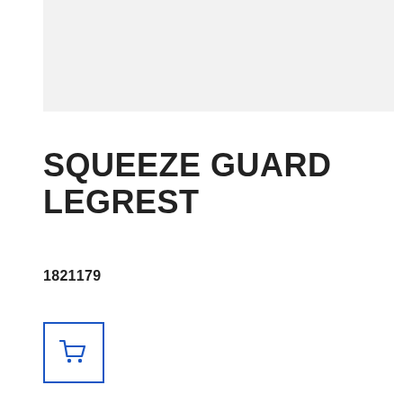[Figure (other): Light grey product image placeholder area]
SQUEEZE GUARD LEGREST
1821179
[Figure (other): Shopping cart button with blue border]